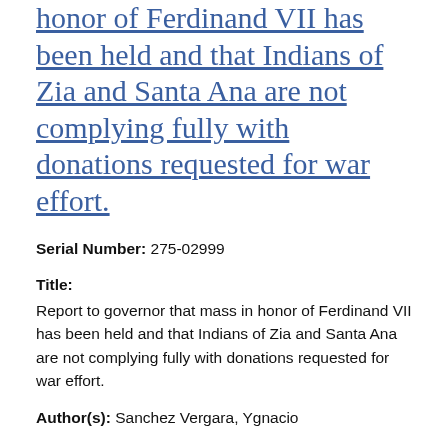honor of Ferdinand VII has been held and that Indians of Zia and Santa Ana are not complying fully with donations requested for war effort.
Serial Number: 275-02999
Title: Report to governor that mass in honor of Ferdinand VII has been held and that Indians of Zia and Santa Ana are not complying fully with donations requested for war effort.
Author(s): Sanchez Vergara, Ygnacio
Date: 04-25-1809